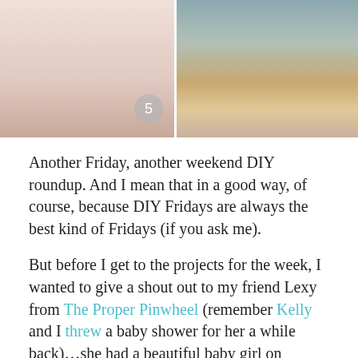[Figure (photo): Two photos side by side: left photo shows a pinkish background with a number 5 badge in the lower right corner; right photo shows a young woman with long reddish-auburn hair.]
Another Friday, another weekend DIY roundup. And I mean that in a good way, of course, because DIY Fridays are always the best kind of Fridays (if you ask me).
But before I get to the projects for the week, I wanted to give a shout out to my friend Lexy from The Proper Pinwheel (remember Kelly and I threw a baby shower for her a while back)…she had a beautiful baby girl on Wednesday and we're all really happy for her! Yay – blog friends!
Okay, okay. So onto the DIYs for the weekend